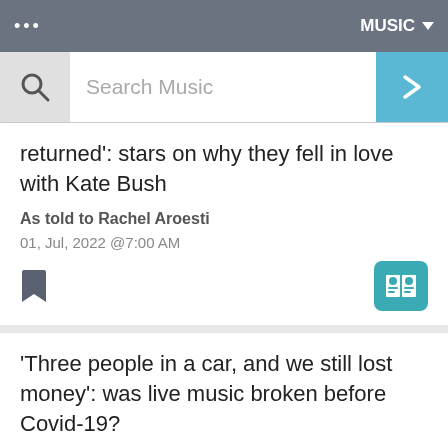... MUSIC ▾
Search Music
returned': stars on why they fell in love with Kate Bush
As told to Rachel Aroesti
01, Jul, 2022 @7:00 AM
'Three people in a car, and we still lost money': was live music broken before Covid-19?
Jenessa Williams
20, Aug, 2020 @1:00 PM